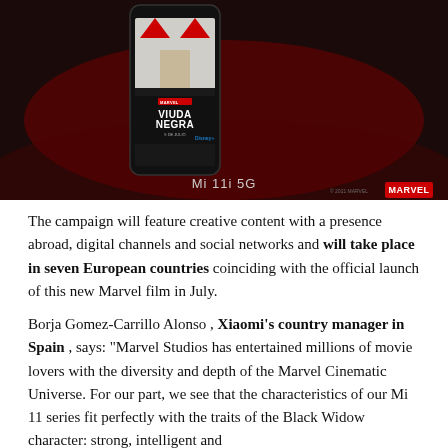[Figure (photo): Xiaomi Mi 11i 5G smartphone displaying a Black Widow (Viuda Negra) Marvel movie promotional image on screen, set against a dark red background. The phone shows Marvel Studios branding, the title 'VIUDA NEGRA', and a release date of 9 de Julio. Below the phone is the text 'Mi 11i 5G' and a small Marvel logo.]
The campaign will feature creative content with a presence abroad, digital channels and social networks and will take place in seven European countries coinciding with the official launch of this new Marvel film in July.
Borja Gomez-Carrillo Alonso , Xiaomi's country manager in Spain , says: "Marvel Studios has entertained millions of movie lovers with the diversity and depth of the Marvel Cinematic Universe. For our part, we see that the characteristics of our Mi 11 series fit perfectly with the traits of the Black Widow character: strong, intelligent and